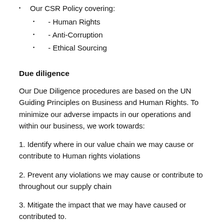Our CSR Policy covering:
- Human Rights
- Anti-Corruption
- Ethical Sourcing
Due diligence
Our Due Diligence procedures are based on the UN Guiding Principles on Business and Human Rights. To minimize our adverse impacts in our operations and within our business, we work towards:
1. Identify where in our value chain we may cause or contribute to Human rights violations
2. Prevent any violations we may cause or contribute to throughout our supply chain
3. Mitigate the impact that we may have caused or contributed to.
Our biggest exposure to Modern Slavery is in our global supply